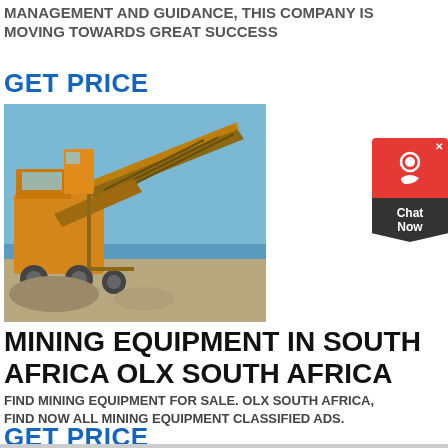MANAGEMENT AND GUIDANCE, THIS COMPANY IS MOVING TOWARDS GREAT SUCCESS
GET PRICE
[Figure (photo): Yellow mining/crushing equipment machinery outdoors against a blue sky]
[Figure (infographic): Chat Now widget with red top section showing headset icon and dark bottom arrow shape]
MINING EQUIPMENT IN SOUTH AFRICA OLX SOUTH AFRICA
FIND MINING EQUIPMENT FOR SALE. OLX SOUTH AFRICA, FIND NOW ALL MINING EQUIPMENT CLASSIFIED ADS.
GET PRICE